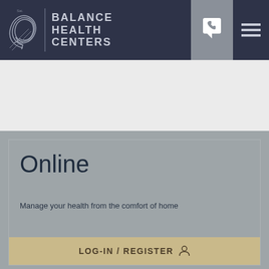[Figure (logo): Balance Health Centers logo with swirl graphic and text, phone button and hamburger menu in header]
Online
Manage your health from the comfort of home
LOG-IN / REGISTER